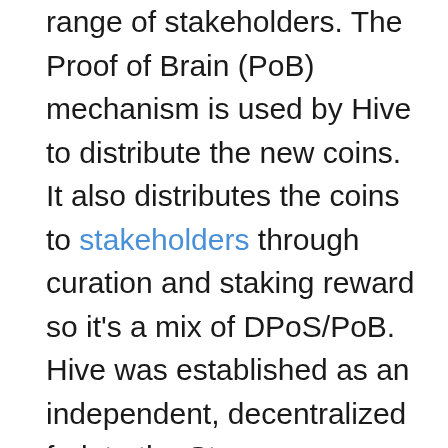range of stakeholders. The Proof of Brain (PoB) mechanism is used by Hive to distribute the new coins. It also distributes the coins to stakeholders through curation and staking reward so it's a mix of DPoS/PoB. Hive was established as an independent, decentralized fork to the Steem blockchain. Two classes of cryptocurrency assets are available in the Hive network: Hive Backed dollars (HBD) and HIVE. HIVE can be accessed in two forms: a liquid (simply HIVE) or a staked